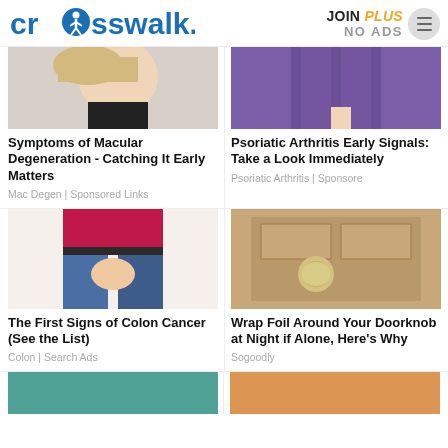crosswalk.com | JOIN PLUS NO ADS
[Figure (photo): Woman touching her face, blonde hair, macular degeneration article image]
Symptoms of Macular Degeneration - Catching It Early Matters
Mac Degen | Sponsored Links
[Figure (photo): Person in purple leggings, psoriatic arthritis article image]
Psoriatic Arthritis Early Signals: Take a Look Immediately
Psoriatic Arthritis | Sponsore
[Figure (photo): Woman in red top and jeans holding her stomach area, colon cancer article image]
The First Signs of Colon Cancer (See the List)
Colon | Search Ads
[Figure (photo): Doorknob wrapped in foil on a door, home security article image]
Wrap Foil Around Your Doorknob at Night if Alone, Here's Why
Sogoodly
[Figure (photo): Partial image bottom left, teal/green color visible]
[Figure (photo): Partial image bottom right, orange/warm color visible]